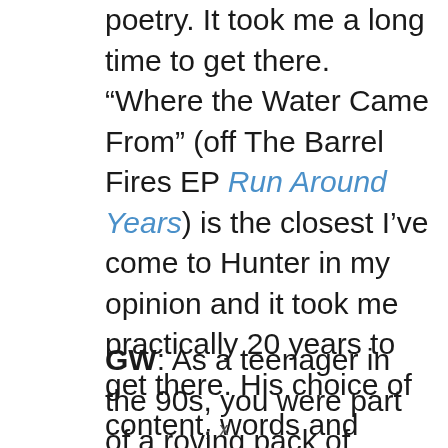poetry. It took me a long time to get there. “Where the Water Came From” (off The Barrel Fires EP Run Around Years) is the closest I’ve come to Hunter in my opinion and it took me practically 20 years to get there. His choice of content, words and images is so unique in rock music. There will never be another Robert Hunter.
GW: As a teenager in the 90s, you were part of a roving pack of guitar playing kids who were often found in parking lots at Grateful
x